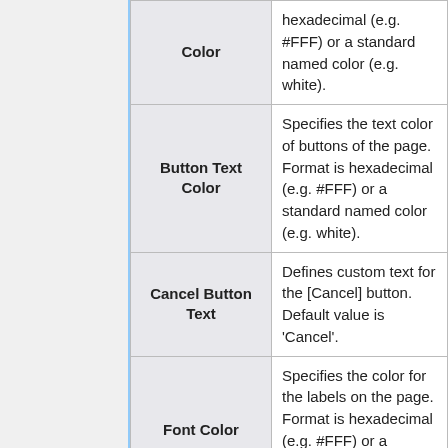| Field | Description |
| --- | --- |
| Color | hexadecimal (e.g. #FFF) or a standard named color (e.g. white). |
| Button Text Color | Specifies the text color of buttons of the page. Format is hexadecimal (e.g. #FFF) or a standard named color (e.g. white). |
| Cancel Button Text | Defines custom text for the [Cancel] button. Default value is 'Cancel'. |
| Font Color | Specifies the color for the labels on the page. Format is hexadecimal (e.g. #FFF) or a standard named color (e.g. white). |